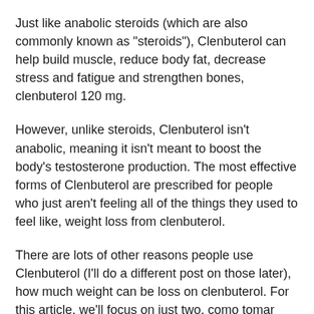Just like anabolic steroids (which are also commonly known as "steroids"), Clenbuterol can help build muscle, reduce body fat, decrease stress and fatigue and strengthen bones, clenbuterol 120 mg.
However, unlike steroids, Clenbuterol isn't anabolic, meaning it isn't meant to boost the body's testosterone production. The most effective forms of Clenbuterol are prescribed for people who just aren't feeling all of the things they used to feel like, weight loss from clenbuterol.
There are lots of other reasons people use Clenbuterol (I'll do a different post on those later), how much weight can be loss on clenbuterol. For this article, we'll focus on just two, como tomar clenbuterol. The first reason is it relieves